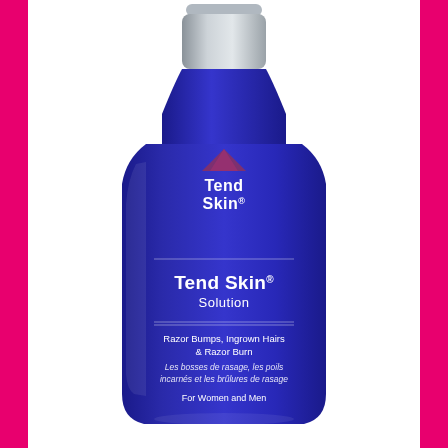[Figure (photo): A blue bottle of Tend Skin Solution with a silver/grey cap. The bottle label shows the Tend Skin logo (mountain logo with text Tend Skin), then 'Tend Skin Solution', followed by 'Razor Bumps, Ingrown Hairs & Razor Burn', French translation 'Les bosses de rasage, les poils incarnés et les brûlures de rasage', and 'For Women and Men'. The bottle is centered on a white background with hot pink vertical borders on the left and right sides of the image.]